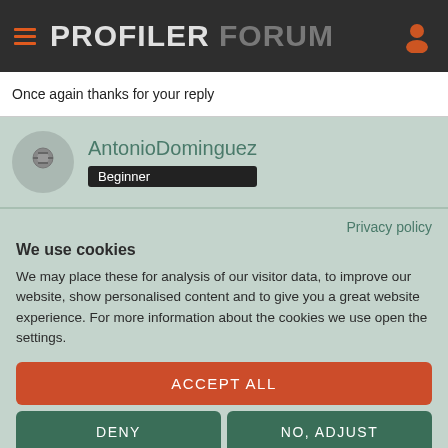PROFILER FORUM
Once again thanks for your reply
AntonioDominguez
Beginner
Privacy policy
We use cookies
We may place these for analysis of our visitor data, to improve our website, show personalised content and to give you a great website experience. For more information about the cookies we use open the settings.
ACCEPT ALL
DENY
NO, ADJUST